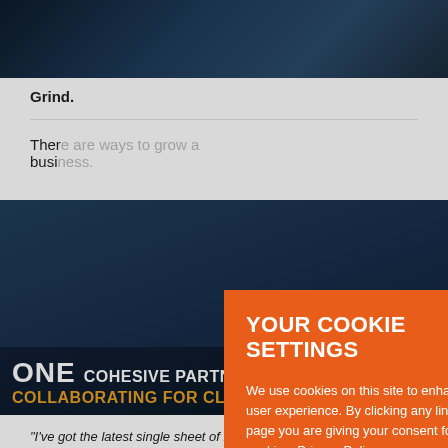[Figure (photo): Dark blue background image showing an object with light reflections]
Grind.
Ther... busi...
[Figure (photo): Photo of business people at a table with overlay text: ONE COHESIVE PARTNERSHIP COLLABORATING FOR CLIENTS]
"I've got the latest single sheet of blank paper you wanted on our
[Figure (screenshot): Cookie consent modal overlay with orange background. Title: YOUR COOKIE SETTINGS. Body: We use cookies on this site to enhance your user experience. By clicking any link on this page you are giving your consent for us to set cookies. Privacy Policy. Buttons: YES, I ACCEPT and MORE INFORMATION]